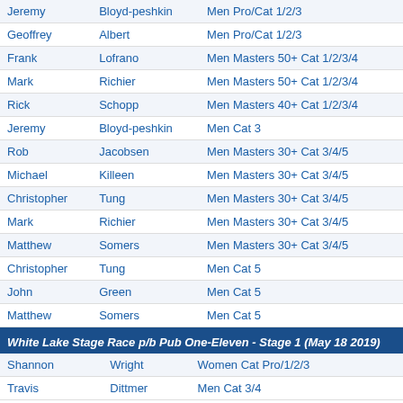| First Name | Last Name | Category |
| --- | --- | --- |
| Jeremy | Bloyd-peshkin | Men Pro/Cat 1/2/3 |
| Geoffrey | Albert | Men Pro/Cat 1/2/3 |
| Frank | Lofrano | Men Masters 50+ Cat 1/2/3/4 |
| Mark | Richier | Men Masters 50+ Cat 1/2/3/4 |
| Rick | Schopp | Men Masters 40+ Cat 1/2/3/4 |
| Jeremy | Bloyd-peshkin | Men Cat 3 |
| Rob | Jacobsen | Men Masters 30+ Cat 3/4/5 |
| Michael | Killeen | Men Masters 30+ Cat 3/4/5 |
| Christopher | Tung | Men Masters 30+ Cat 3/4/5 |
| Mark | Richier | Men Masters 30+ Cat 3/4/5 |
| Matthew | Somers | Men Masters 30+ Cat 3/4/5 |
| Christopher | Tung | Men Cat 5 |
| John | Green | Men Cat 5 |
| Matthew | Somers | Men Cat 5 |
White Lake Stage Race p/b Pub One-Eleven - Stage 1 (May 18 2019)
| First Name | Last Name | Category |
| --- | --- | --- |
| Shannon | Wright | Women Cat Pro/1/2/3 |
| Travis | Dittmer | Men Cat 3/4 |